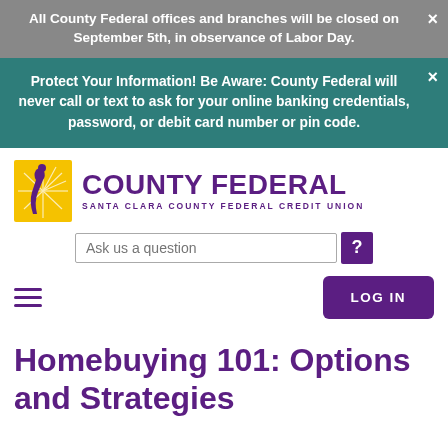All County Federal offices and branches will be closed on September 5th, in observance of Labor Day.
Protect Your Information! Be Aware: County Federal will never call or text to ask for your online banking credentials, password, or debit card number or pin code.
[Figure (logo): County Federal – Santa Clara County Federal Credit Union logo with yellow and purple figure icon]
Ask us a question
Homebuying 101: Options and Strategies